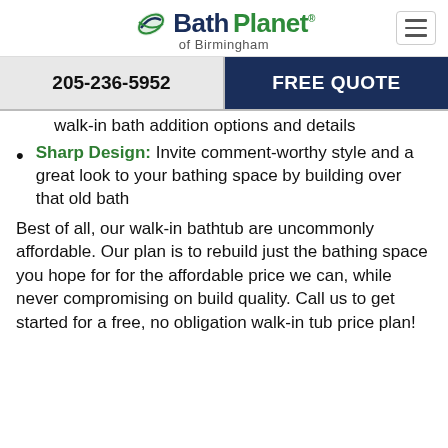Bath Planet of Birmingham
205-236-5952
FREE QUOTE
walk-in bath addition options and details
Sharp Design: Invite comment-worthy style and a great look to your bathing space by building over that old bath
Best of all, our walk-in bathtub are uncommonly affordable. Our plan is to rebuild just the bathing space you hope for for the affordable price we can, while never compromising on build quality. Call us to get started for a free, no obligation walk-in tub price plan!